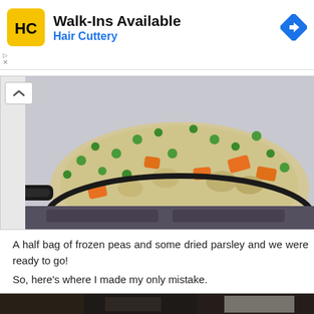[Figure (other): Hair Cuttery advertisement banner with logo (yellow/black HC logo), text 'Walk-Ins Available' and 'Hair Cuttery', and a blue diamond direction arrow icon]
[Figure (photo): A skillet/pan on a stovetop filled with a creamy mixture containing green peas, chopped carrots, mushrooms, and other vegetables in a cream sauce]
A half bag of frozen peas and some dried parsley and we were ready to go!
So, here's where I made my only mistake.
[Figure (photo): A dark kitchen scene with dim lighting, partially visible]